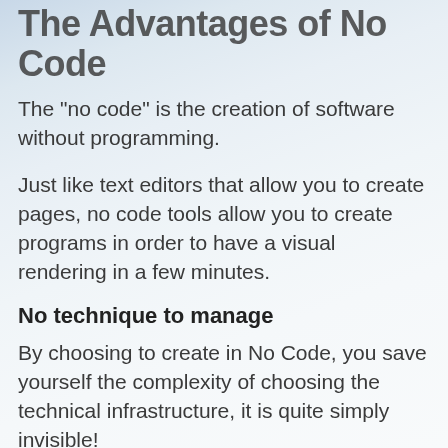The Advantages of No Code
The "no code" is the creation of software without programming.
Just like text editors that allow you to create pages, no code tools allow you to create programs in order to have a visual rendering in a few minutes.
No technique to manage
By choosing to create in No Code, you save yourself the complexity of choosing the technical infrastructure, it is quite simply invisible!
Zenn app is a turnkey Saas (Software as a